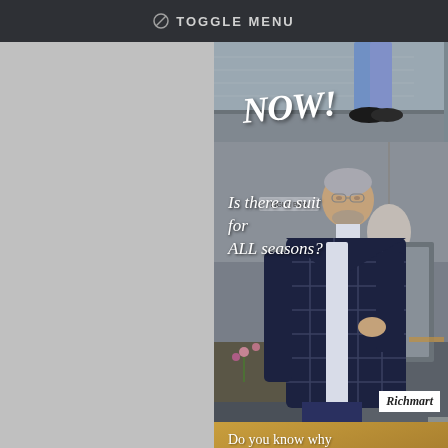TOGGLE MENU
[Figure (photo): Top portion of image showing 'NOW!' text over a background with a person's legs in blue trousers and dark shoes]
[Figure (photo): Man in a dark plaid/checked suit jacket standing in an interior setting. Text overlay reads 'Is there a suit for ALL seasons?' and 'Richmart' logo in bottom right corner.]
[Figure (photo): Promotional banner with golden/brown background asking 'Do you know why vicuña fabric is so expensive?' with a vicuña animal visible at the bottom]